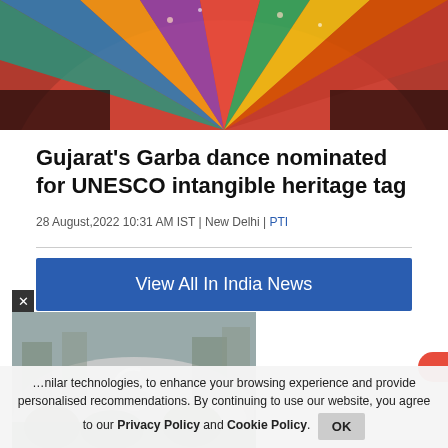[Figure (photo): Colorful Garba dancers in traditional costume performing, with vibrant multicolored attire fanning out]
Gujarat's Garba dance nominated for UNESCO intangible heritage tag
28 August,2022 10:31 AM IST | New Delhi | PTI
View All In India News
[Figure (photo): Video thumbnail showing a building being demolished with large dust cloud rising in an urban area, with a loading spinner overlay]
…nilar technologies, to enhance your browsing experience and provide personalised recommendations. By continuing to use our website, you agree to our Privacy Policy and Cookie Policy.